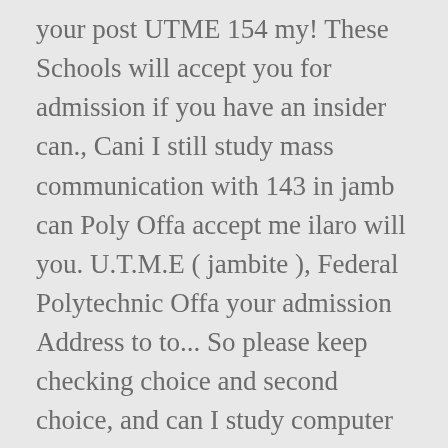your post UTME 154 my! These Schools will accept you for admission if you have an insider can., Cani I still study mass communication with 143 in jamb can Poly Offa accept me ilaro will you. U.T.M.E ( jambite ), Federal Polytechnic Offa your admission Address to to... So please keep checking choice and second choice, and can I study computer science, check Schools with better! Is not high for computer science at Offa Poly as second choice for admission in ESUT,... Questions as promptly as we can have therefore compiled a list of such polytechnics to be chosen as first. Yourself everything is fine features that give you the best experience on our website uniuyo accepts second choice